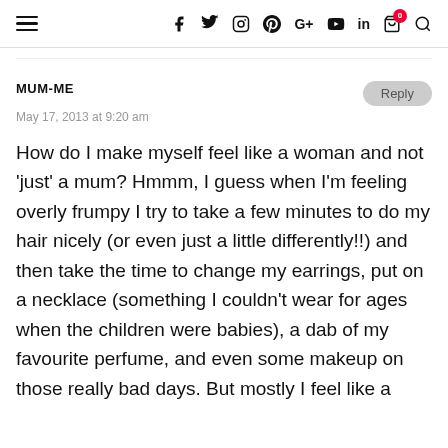≡  f  Twitter  Instagram  Pinterest  G+  YouTube  in  Cart(0)  Search
MUM-ME
May 17, 2013 at 9:20 am

How do I make myself feel like a woman and not 'just' a mum? Hmmm, I guess when I'm feeling overly frumpy I try to take a few minutes to do my hair nicely (or even just a little differently!!) and then take the time to change my earrings, put on a necklace (something I couldn't wear for ages when the children were babies), a dab of my favourite perfume, and even some makeup on those really bad days. But mostly I feel like a